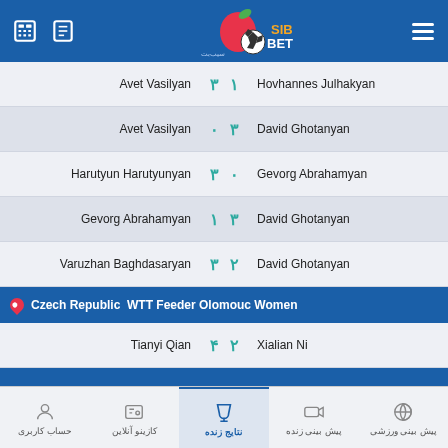[Figure (logo): SibBet sports betting app logo with apple and soccer ball, blue header with navigation icons]
| Player 1 | Score 1 | Score 2 | Player 2 |
| --- | --- | --- | --- |
| Avet Vasilyan | ۳ | ۱ | Hovhannes Julhakyan |
| Avet Vasilyan | ۰ | ۳ | David Ghotanyan |
| Harutyun Harutyunyan | ۳ | ۰ | Gevorg Abrahamyan |
| Gevorg Abrahamyan | ۱ | ۳ | David Ghotanyan |
| Varuzhan Baghdasaryan | ۳ | ۲ | David Ghotanyan |
Czech Republic WTT Feeder Olomouc Women
| Player 1 | Score 1 | Score 2 | Player 2 |
| --- | --- | --- | --- |
| Tianyi Qian | ۴ | ۲ | Xialian Ni |
Czech Republic WTT Feeder Olomouc
| Player 1 | Score 1 | Score 2 | Player 2 |
| --- | --- | --- | --- |
| Zhou Qihao | ۱ | ۴ | Maharu Yoshimura |
| Robert Gardos | ۳ | ۴ | Seungmin Cho |